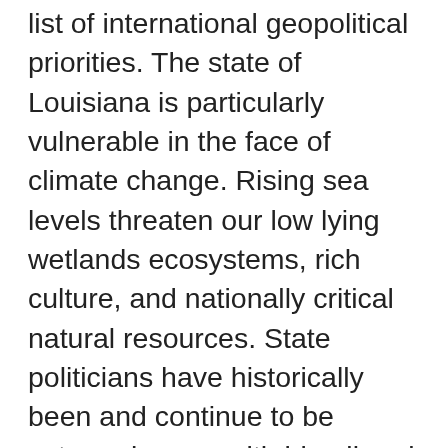list of international geopolitical priorities. The state of Louisiana is particularly vulnerable in the face of climate change. Rising sea levels threaten our low lying wetlands ecosystems, rich culture, and nationally critical natural resources. State politicians have historically been and continue to be extremely cozy with big oil and petrochemical industries. Even as we continue to lose land at one of the fastest rates in the world, climate change remains a back burner issue and politicians remain in the pockets of big oil and industry. We demand better representation and real solutions to the climate issues facing the state for the future generations of Louisiana NOW! This means making climate change and environmental justice issues a priority and holding industries accountable for the havoc they continue to wreak on the coast, in our waters, and in our air. It means reducing the state reliance on oil and gas